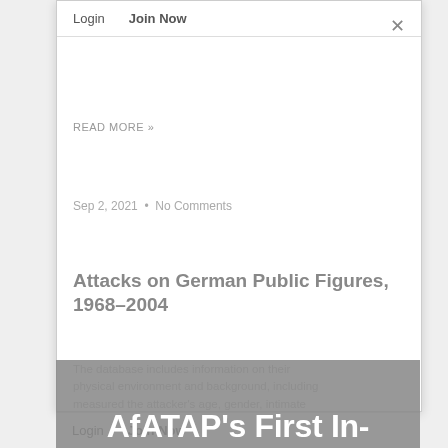Login   Join Now
READ MORE »
Sep 2, 2021  •  No Comments
Attacks on German Public Figures, 1968–2004
The database includes information on their physical environment and background including measured the attacker's age, gender, intimate and situational components...  The database...
AfATAP's First In-Person Conference Registration Now Open For Members
Login   Join Now